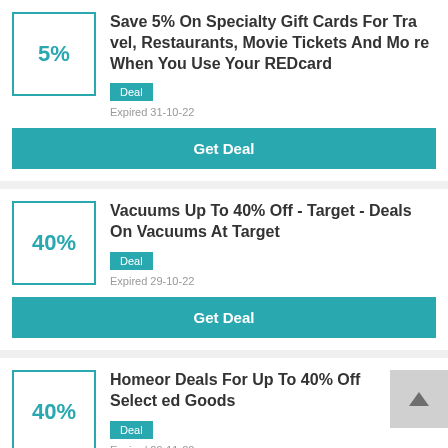5%
Save 5% On Specialty Gift Cards For Travel, Restaurants, Movie Tickets And More When You Use Your REDcard
Deal
Expired 31-10-22
Get Deal
40%
Vacuums Up To 40% Off - Target - Deals On Vacuums At Target
Deal
Expired 29-10-22
Get Deal
40%
Homeor Deals For Up To 40% Off Selected Goods
Deal
Expired 29-11-22
Get Deal